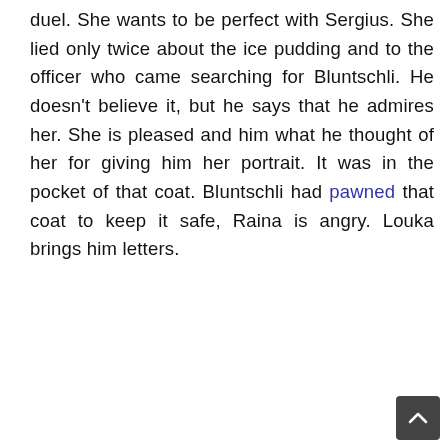duel. She wants to be perfect with Sergius. She lied only twice about the ice pudding and to the officer who came searching for Bluntschli. He doesn't believe it, but he says that he admires her. She is pleased and him what he thought of her for giving him her portrait. It was in the pocket of that coat. Bluntschli had pawned that coat to keep it safe, Raina is angry. Louka brings him letters.